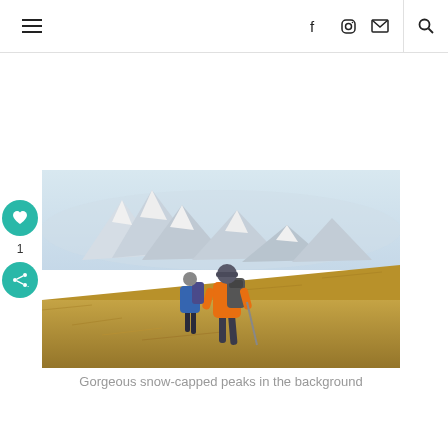Navigation header with hamburger menu, social icons (Facebook, Instagram, Email), and search
[Figure (photo): Two hikers with backpacks walking up a grassy hillside toward snow-capped mountain peaks in the background under misty sky. The closer hiker wears an orange jacket.]
Gorgeous snow-capped peaks in the background